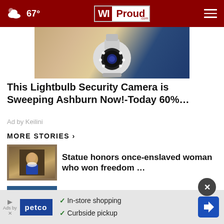67° WIProud.com
[Figure (photo): Security camera shaped like a lightbulb, white dome camera with LED lights, mounted on a surface]
This Lightbulb Security Camera is Sweeping Ashburn Now!-Today 60%...
Ad by Keilini
MORE STORIES ›
[Figure (photo): Small portrait painting in ornate gold frame showing a woman in historical dress]
Statue honors once-enslaved woman who won freedom …
[Figure (photo): Aerial or side view of a large ship or tanker on blue water]
Chemical tanker, cargo ship crash near southwestern …
[Figure (screenshot): Petco advertisement showing In-store shopping and Curbside pickup options with navigation arrow icon]